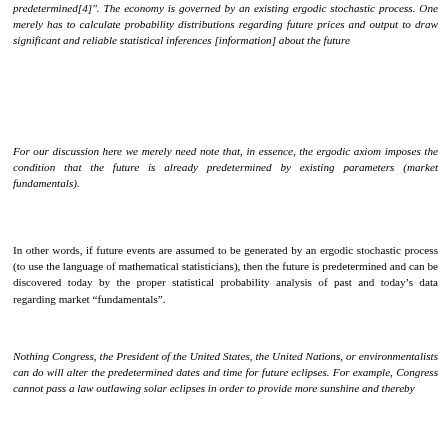predetermined[4]". The economy is governed by an existing ergodic stochastic process. One merely has to calculate probability distributions regarding future prices and output to draw significant and reliable statistical inferences [information] about the future
For our discussion here we merely need note that, in essence, the ergodic axiom imposes the condition that the future is already predetermined by existing parameters (market fundamentals).
In other words, if future events are assumed to be generated by an ergodic stochastic process (to use the language of mathematical statisticians), then the future is predetermined and can be discovered today by the proper statistical probability analysis of past and today’s data regarding market “fundamentals”.
Nothing Congress, the President of the United States, the United Nations, or environmentalists can do will alter the predetermined dates and time for future eclipses. For example, Congress cannot pass a law outlawing solar eclipses in order to provide more sunshine and thereby